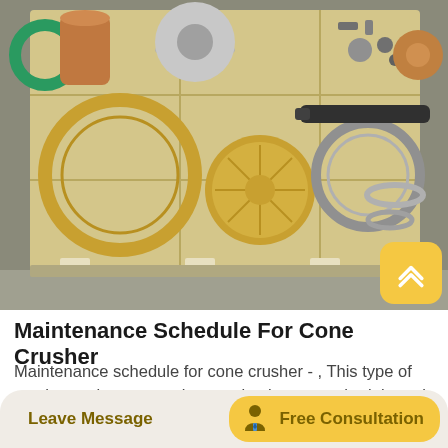[Figure (photo): Industrial cone crusher parts and components laid out on a wooden pallet, including rings, discs, gears, seals, and other mechanical parts.]
Maintenance Schedule For Cone Crusher
Maintenance schedule for cone crusher - , This type of crusher maintenance plan need to be on a schedule and followed to keep up the crusher life Following the manufacturer's maintenance manual should be maintainance schedule of crusher - mmtoolsindiain Jaw Crusherzeniths cone
Leave Message  Free Consultation